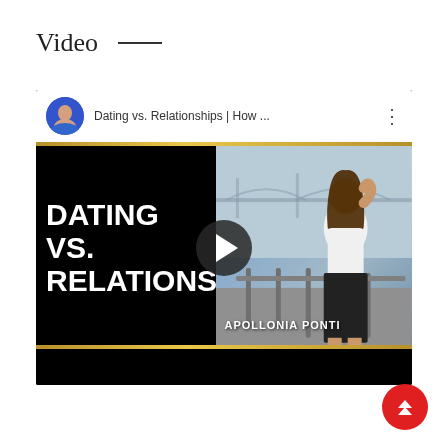Video
[Figure (screenshot): YouTube video thumbnail for 'Dating vs. Relationships | How ...' by Apollonia Ponti. The thumbnail shows bold white text 'DATING VS. RELATIONSHIP' on the left black half, and a woman in a white top and black skirt standing near a bridge (likely Brooklyn Bridge) on the right. A play button is centered over the image. The video player shows the channel avatar (woman in blue top) and title in a white top bar with gold accent bars.]
[Figure (illustration): Red circular scroll-to-top button with double upward chevron arrows in white, positioned at bottom right of page.]